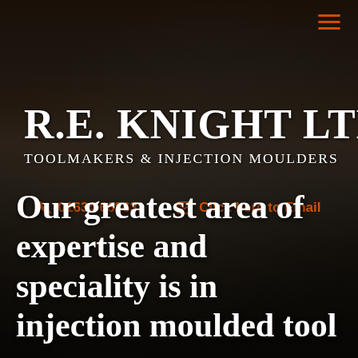[Figure (logo): R.E. Knight Ltd. company logo with a knight in armour figure and company name and tagline 'Toolmakers & Injection Moulders']
📞 01634 668631   ✉ Click here to Email
Our greatest area of expertise and speciality is in injection moulded tool